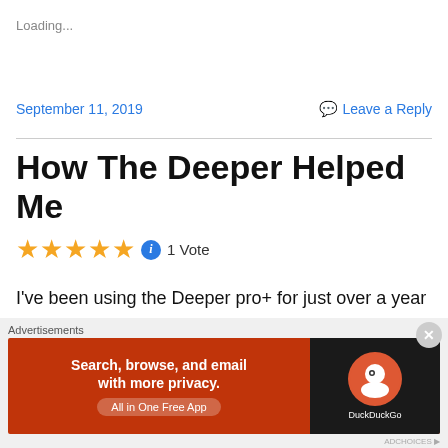Loading...
September 11, 2019
Leave a Reply
How The Deeper Helped Me
★★★★★ ℹ 1 Vote
I've been using the Deeper pro+ for just over a year now. Since then, it's helped me understand the topography of the lakes and has certainly helped catch more fish!  I have heard a lot of negative comments about people using the
Advertisements
[Figure (screenshot): DuckDuckGo advertisement banner: orange background with text 'Search, browse, and email with more privacy. All in One Free App' and DuckDuckGo logo on dark right panel]